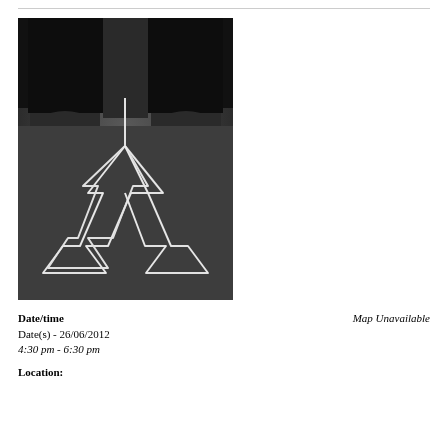[Figure (photo): Black and white photo viewed from above: a person's feet wearing boots standing on pavement with two chalk arrows drawn on the ground pointing in different directions (left and right/down), forming a forked path symbol.]
Date/time
Map Unavailable
Date(s) - 26/06/2012
4:30 pm - 6:30 pm
Location: